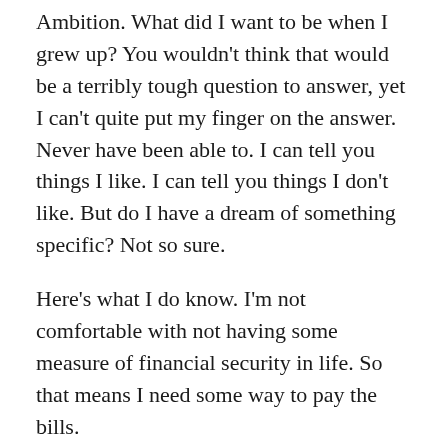Ambition. What did I want to be when I grew up? You wouldn't think that would be a terribly tough question to answer, yet I can't quite put my finger on the answer. Never have been able to. I can tell you things I like. I can tell you things I don't like. But do I have a dream of something specific? Not so sure.
Here's what I do know. I'm not comfortable with not having some measure of financial security in life. So that means I need some way to pay the bills.
I do not have the desire to conquer the world, to rise to the absolute top of any organization. I simply have no interest in the time commitment that would take. I accept that I like having time to do things just for